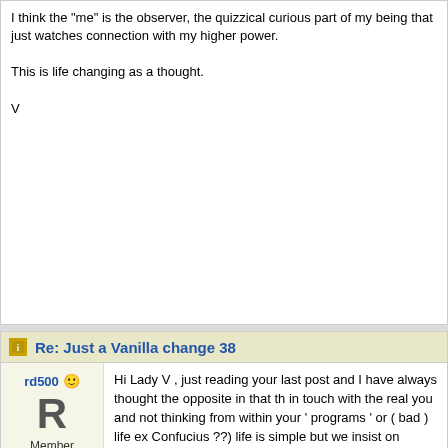I think the "me" is the observer, the quizzical curious part of my being that just watches connection with my higher power.

This is life changing as a thought.

V
Re: Just a Vanilla change 38
rd500 Member
Hi Lady V , just reading your last post and I have always thought the opposite in that th in touch with the real you and not thinking from within your ' programs ' or ( bad ) life ex Confucius ??) life is simple but we insist on making it complicated. This to me is overth your higher power , for me, is living in the now and experiencing reality and not living in time in meetings and it's amazing to watch people and i try and see their ' real ' persona egos but it's seeing that ego for what it is , more like a separate part of us and not a he someone call themselves ' a strong person ' , i wonder who they are telling ? , and i thi others, again ego. Would a strong person need to state it and how many people would

Anyway , just my thoughts , im off to instruct at my meditation class !!!!!

Namaste